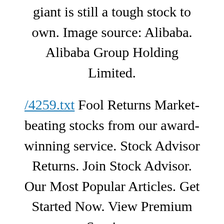giant is still a tough stock to own. Image source: Alibaba. Alibaba Group Holding Limited.
/4259.txt Fool Returns Market-beating stocks from our award-winning service. Stock Advisor Returns. Join Stock Advisor. Our Most Popular Articles. Get Started Now. View Premium Services.